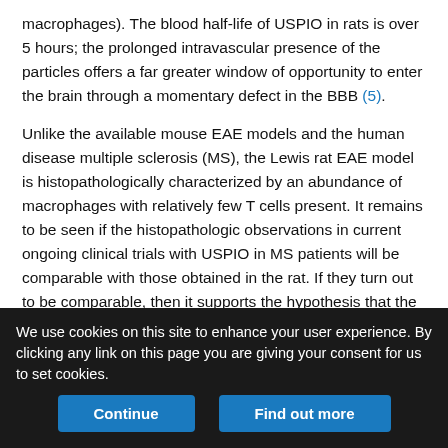macrophages). The blood half-life of USPIO in rats is over 5 hours; the prolonged intravascular presence of the particles offers a far greater window of opportunity to enter the brain through a momentary defect in the BBB (5).
Unlike the available mouse EAE models and the human disease multiple sclerosis (MS), the Lewis rat EAE model is histopathologically characterized by an abundance of macrophages with relatively few T cells present. It remains to be seen if the histopathologic observations in current ongoing clinical trials with USPIO in MS patients will be comparable with those obtained in the rat. If they turn out to be comparable, then it supports the hypothesis that the USPIO brain uptake is nonspecific through a leaky BBB, irrespective of the predominant inflammatory cells. This...
We use cookies on this site to enhance your user experience. By clicking any link on this page you are giving your consent for us to set cookies.